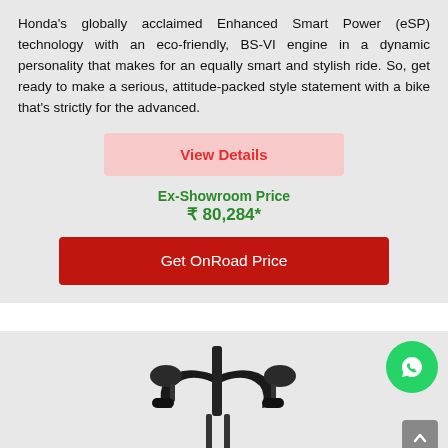Honda's globally acclaimed Enhanced Smart Power (eSP) technology with an eco-friendly, BS-VI engine in a dynamic personality that makes for an equally smart and stylish ride. So, get ready to make a serious, attitude-packed style statement with a bike that's strictly for the advanced.
View Details
Ex-Showroom Price ₹ 80,284*
Get OnRoad Price
[Figure (photo): Partial view of a Honda motorcycle handlebar and mirror on a grey background, with a WhatsApp chat button (green circle with phone icon) in the lower right and a scroll-to-top button.]